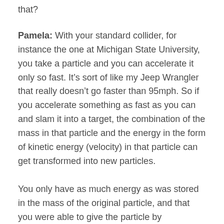that?
Pamela: With your standard collider, for instance the one at Michigan State University, you take a particle and you can accelerate it only so fast. It’s sort of like my Jeep Wrangler that really doesn’t go faster than 95mph. So if you accelerate something as fast as you can and slam it into a target, the combination of the mass in that particle and the energy in the form of kinetic energy (velocity) in that particle can get transformed into new particles.
You only have as much energy as was stored in the mass of the original particle, and that you were able to give the particle by accelerating it. That number usually has some maximum value, and anything that has a mass that has an equivalent energy greater than what you’re able to get out of that particle, you can’t make. It’s sort of like you can’t make a two layer cake if you only have enough mix